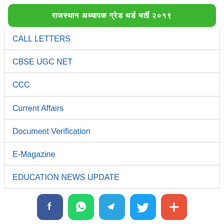राजस्थान अध्यापक ग्रेड थर्ड भर्ती २०१९
CALL LETTERS
CBSE UGC NET
CCC
Current Affairs
Document Verification
E-Magazine
EDUCATION NEWS UPDATE
Election
Exam Date
Exam Date Notification
Exam Form
Exam Paper